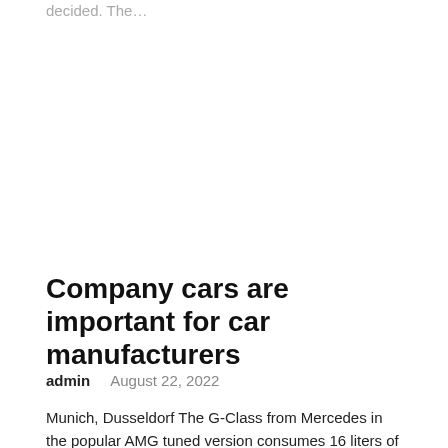decided. The…
Company cars are important for car manufacturers
admin   August 22, 2022
Munich, Dusseldorf The G-Class from Mercedes in the popular AMG tuned version consumes 16 liters of petrol per 100 kilometers at a base price of 180,939 euros. The resulting carbon…